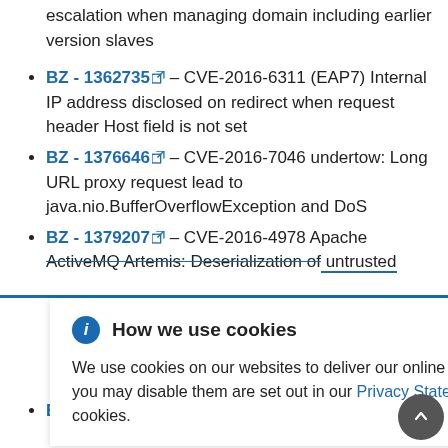escalation when managing domain including earlier version slaves
BZ - 1362735 – CVE-2016-6311 (EAP7) Internal IP address disclosed on redirect when request header Host field is not set
BZ - 1376646 – CVE-2016-7046 undertow: Long URL proxy request lead to java.nio.BufferOverflowException and DoS
BZ - 1379207 – CVE-2016-4978 Apache ActiveMQ Artemis: Deserialization of untrusted
[Figure (screenshot): Cookie consent banner overlay reading 'How we use cookies' with info icon and close button. Body text: 'We use cookies on our websites to deliver our online services. Details about how we use cookies and how you may disable them are set out in our Privacy Statement. By using this website you agree to our use of cookies.']
BZ - 1401661 – CVE-2016-7066 admin-cli: Any